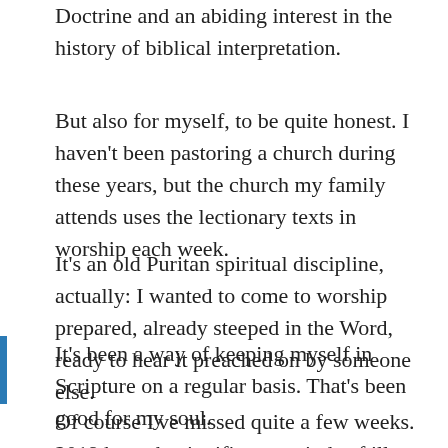Doctrine and an abiding interest in the history of biblical interpretation.
But also for myself, to be quite honest. I haven't been pastoring a church during these years, but the church my family attends uses the lectionary texts in worship each week.
It's an old Puritan spiritual discipline, actually: I wanted to come to worship prepared, already steeped in the Word, ready to hear it preached on by someone else.
It's been a way of keeping myself in Scripture on a regular basis. That's been good for my soul.
Of course I've missed quite a few weeks. 2019 brought significant periods of ill health, and 2020